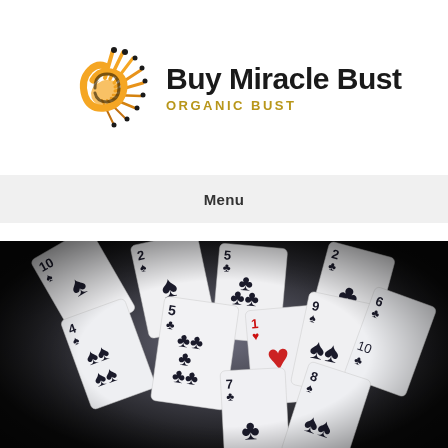[Figure (logo): Buy Miracle Bust logo with sunburst/swirl graphic in orange/gold and black, text 'Buy Miracle Bust' in bold black and 'ORGANIC BUST' in gold capitals]
Menu
[Figure (photo): Overhead photo of scattered playing cards on dark background, showing spades, clubs and one red heart card, cards include 2, 4, 5, 6, 7, 8, 9, 10 of spades/clubs and one heart]